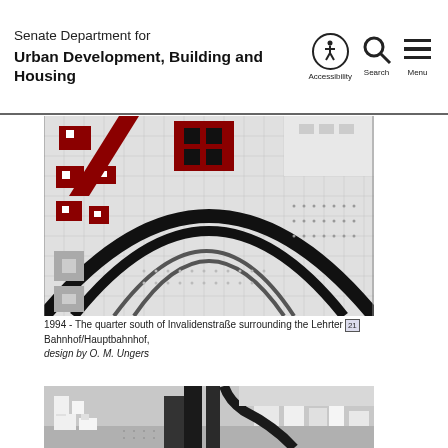Senate Department for Urban Development, Building and Housing
[Figure (illustration): 1994 architectural plan drawing showing the quarter south of Invalidenstraße surrounding the Lehrter Bahnhof/Hauptbahnhof, design by O. M. Ungers. Plan view with dark arcs, red building blocks, and grid patterns.]
1994 - The quarter south of Invalidenstraße surrounding the Lehrter Bahnhof/Hauptbahnhof, design by O. M. Ungers
[Figure (photo): Architectural scale model photograph showing urban development around the Hauptbahnhof area, with white building models on a dark base, aerial view.]